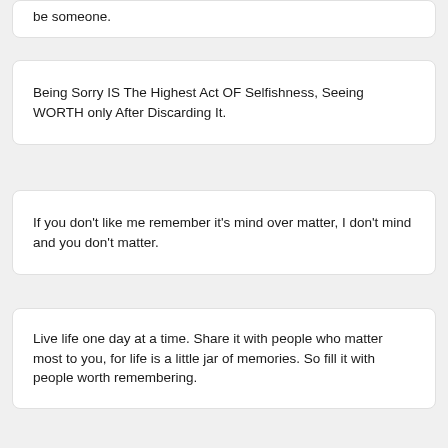be someone.
Being Sorry IS The Highest Act OF Selfishness, Seeing WORTH only After Discarding It.
If you don't like me remember it's mind over matter, I don't mind and you don't matter.
Live life one day at a time. Share it with people who matter most to you, for life is a little jar of memories. So fill it with people worth remembering.